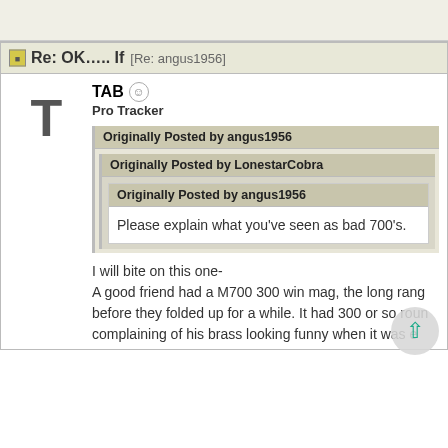Re: OK….. If [Re: angus1956]
TAB  Pro Tracker
Originally Posted by angus1956
Originally Posted by LonestarCobra
Originally Posted by angus1956
Please explain what you've seen as bad 700's.
I will bite on this one-
A good friend had a M700 300 win mag, the long rang
before they folded up for a while. It had 300 or so roun
complaining of his brass looking funny when it was e